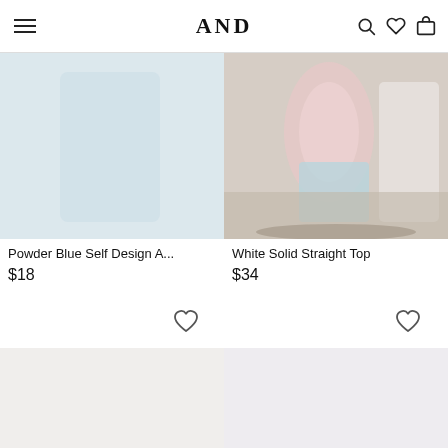AND
[Figure (photo): Left product: Powder Blue Self Design A-line top, product photo area (partially visible, top cut off)]
[Figure (photo): Right product: White Solid Straight Top, fashion photo showing models in outdoor setting with floral/patterned clothing]
Powder Blue Self Design A...
$18
White Solid Straight Top
$34
[Figure (illustration): Wishlist heart icon for left product]
[Figure (illustration): Wishlist heart icon for right product]
[Figure (photo): Bottom left product card image area (partially visible)]
[Figure (photo): Bottom right product card image area (partially visible)]